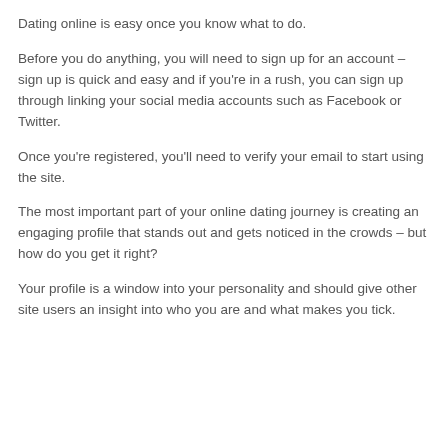Dating online is easy once you know what to do.
Before you do anything, you will need to sign up for an account – sign up is quick and easy and if you're in a rush, you can sign up through linking your social media accounts such as Facebook or Twitter.
Once you're registered, you'll need to verify your email to start using the site.
The most important part of your online dating journey is creating an engaging profile that stands out and gets noticed in the crowds – but how do you get it right?
Your profile is a window into your personality and should give other site users an insight into who you are and what makes you tick.